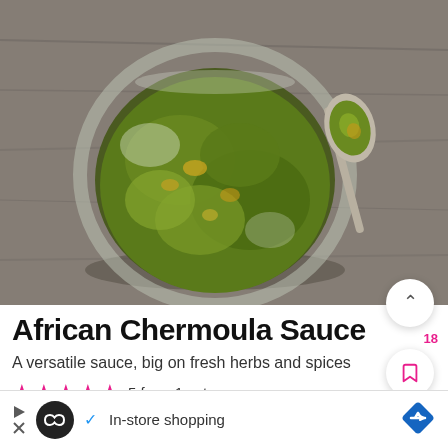[Figure (photo): Overhead photo of a glass bowl containing African Chermoula Sauce (green herb and spice sauce) on a wooden surface, with a spoon alongside holding some of the sauce]
African Chermoula Sauce
A versatile sauce, big on fresh herbs and spices
★★★★★ 5 from 1 vote
✓ In-store shopping